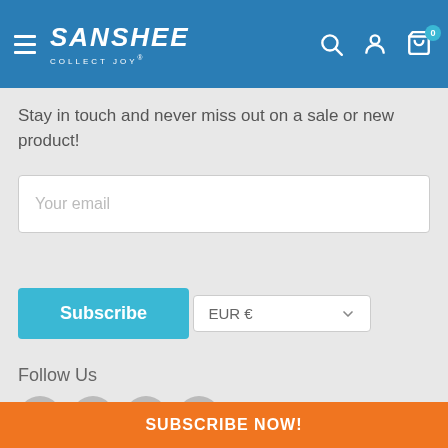SANSHEE COLLECT JOY
Stay in touch and never miss out on a sale or new product!
Your email
Subscribe
EUR €
Follow Us
SUBSCRIBE NOW!